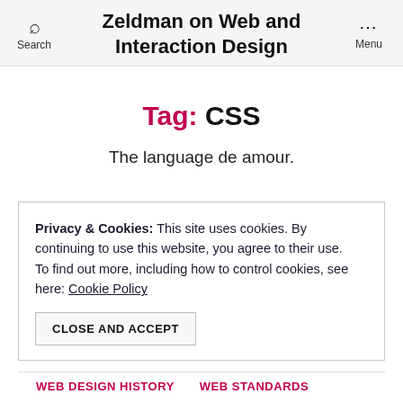Zeldman on Web and Interaction Design
Tag: CSS
The language de amour.
Privacy & Cookies: This site uses cookies. By continuing to use this website, you agree to their use. To find out more, including how to control cookies, see here: Cookie Policy
CLOSE AND ACCEPT
WEB DESIGN HISTORY   WEB STANDARDS